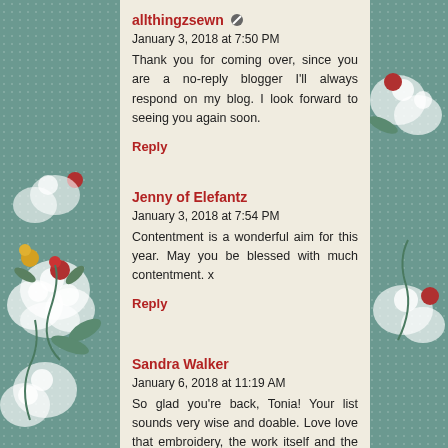allthingzsewn  January 3, 2018 at 7:50 PM
Thank you for coming over, since you are a no-reply blogger I'll always respond on my blog. I look forward to seeing you again soon.
Reply
Jenny of Elefantz  January 3, 2018 at 7:54 PM
Contentment is a wonderful aim for this year. May you be blessed with much contentment. x
Reply
Sandra Walker  January 6, 2018 at 11:19 AM
So glad you're back, Tonia! Your list sounds very wise and doable. Love love that embroidery, the work itself and the saying. :-)
Reply